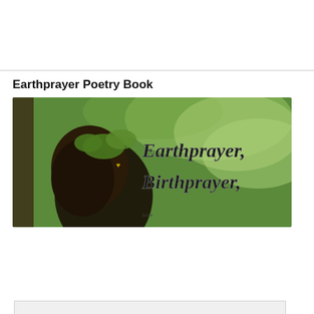Earthprayer Poetry Book
[Figure (photo): Book cover image showing a person with dark hair among green leaves, with stylized text reading 'Earthprayer, Birthprayer,' overlaid on a green nature background]
Privacy & Cookies: This site uses cookies. By continuing to use this website, you agree to their use.
To find out more, including how to control cookies, see here: Cookie Policy
Close and accept